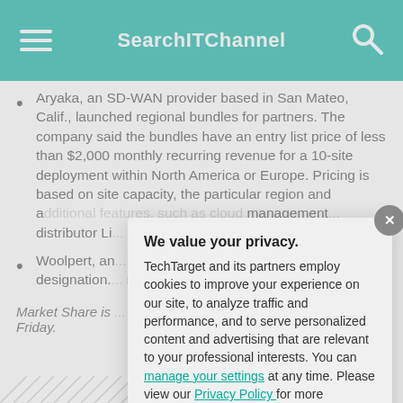SearchITChannel
Aryaka, an SD-WAN provider based in San Mateo, Calif., launched regional bundles for partners. The company said the bundles have an entry list price of less than $2,000 monthly recurring revenue for a 10-site deployment within North America or Europe. Pricing is based on site capacity, the particular region and a...management...distributor Li...company's m...VARs.
Woolpert, an...geospatial s...obtained the...designation....mapping and...
Market Share is...Friday.
[Figure (other): Privacy consent modal dialog with title 'We value your privacy.' and buttons OK and Settings]